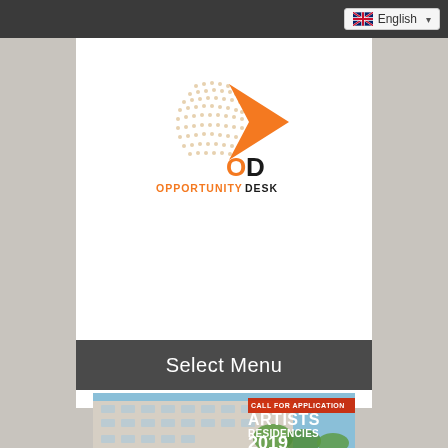English
[Figure (logo): OpportunityDesk logo: globe made of dots with an orange arrow/chevron shape, text 'OD' in orange and black, 'OPPORTUNITYDESK' below in orange and black]
Select Menu
[Figure (photo): Building exterior photo with overlay text 'CALL FOR APPLICATION ARTISTS RESIDENCIES 2019']